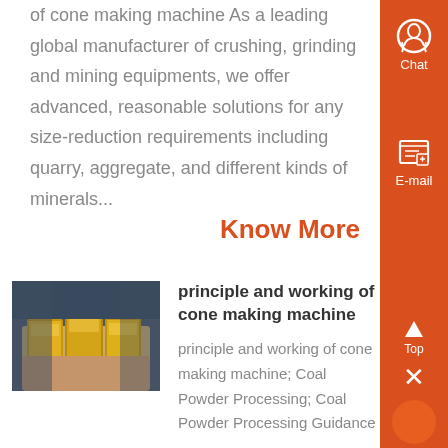of cone making machine As a leading global manufacturer of crushing, grinding and mining equipments, we offer advanced, reasonable solutions for any size-reduction requirements including quarry, aggregate, and different kinds of minerals...
Know More
[Figure (photo): Person holding three gold bars/ingots]
principle and working of cone making machine
principle and working of cone making machine; Coal Powder Processing; Coal Powder Processing Guidance ....